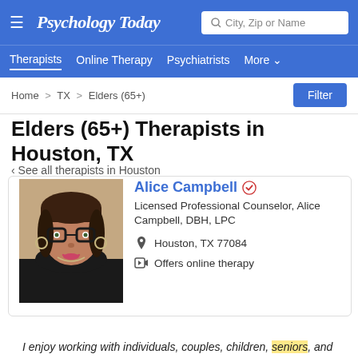Psychology Today — City, Zip or Name search — Therapists | Online Therapy | Psychiatrists | More
Home > TX > Elders (65+)
Elders (65+) Therapists in Houston, TX
< See all therapists in Houston
[Figure (photo): Headshot photo of Alice Campbell, a woman with dark hair and glasses wearing a black top and hoop earrings]
Alice Campbell ✔️ Licensed Professional Counselor, Alice Campbell, DBH, LPC Houston, TX 77084 Offers online therapy
I enjoy working with individuals, couples, children, seniors, and LGBTQIA.